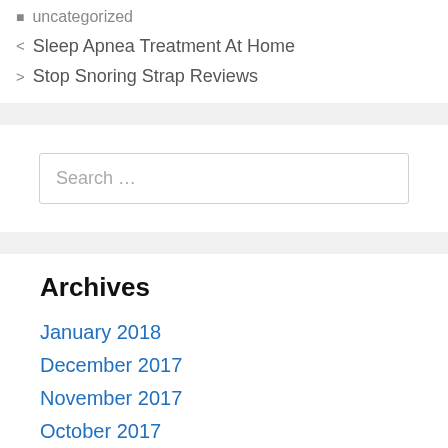uncategorized
< Sleep Apnea Treatment At Home
> Stop Snoring Strap Reviews
Search …
Archives
January 2018
December 2017
November 2017
October 2017